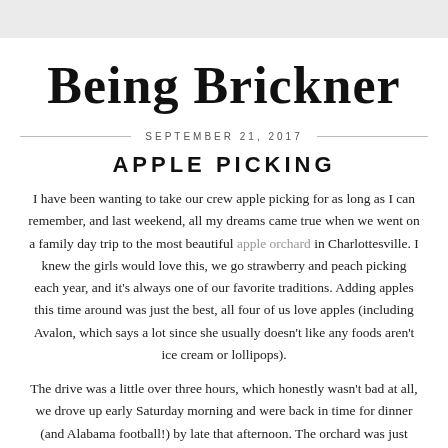Being Brickner
SEPTEMBER 21, 2017
APPLE PICKING
I have been wanting to take our crew apple picking for as long as I can remember, and last weekend, all my dreams came true when we went on a family day trip to the most beautiful apple orchard in Charlottesville.  I knew the girls would love this, we go strawberry and peach picking each year, and it's always one of our favorite traditions.  Adding apples this time around was just the best, all four of us love apples (including Avalon, which says a lot since she usually doesn't like any foods aren't ice cream or lollipops).
The drive was a little over three hours, which honestly wasn't bad at all, we drove up early Saturday morning and were back in time for dinner (and Alabama football!) by late that afternoon.  The orchard was just incredible